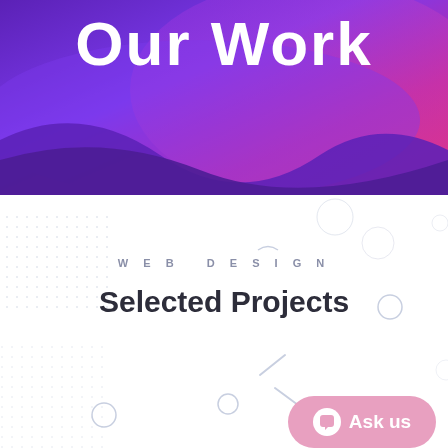[Figure (illustration): Purple to pink gradient hero banner with wave/blob shape at the bottom and 'Our Work' bold white text on top]
Our Work
WEB DESIGN
Selected Projects
[Figure (other): Ask us chat button with pink rounded rectangle background and chat icon]